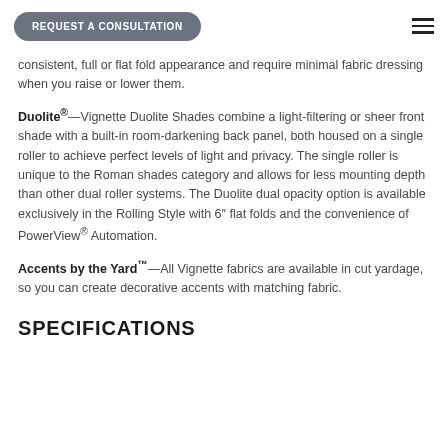REQUEST A CONSULTATION
consistent, full or flat fold appearance and require minimal fabric dressing when you raise or lower them.
Duolite®—Vignette Duolite Shades combine a light-filtering or sheer front shade with a built-in room-darkening back panel, both housed on a single roller to achieve perfect levels of light and privacy. The single roller is unique to the Roman shades category and allows for less mounting depth than other dual roller systems. The Duolite dual opacity option is available exclusively in the Rolling Style with 6″ flat folds and the convenience of PowerView® Automation.
Accents by the Yard™—All Vignette fabrics are available in cut yardage, so you can create decorative accents with matching fabric.
SPECIFICATIONS